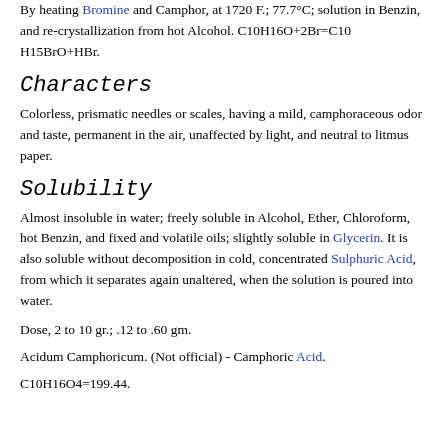By heating Bromine and Camphor, at 1720 F.; 77.7°C; solution in Benzin, and re-crystallization from hot Alcohol. C10H16O+2Br=C10H15BrO+HBr.
Characters
Colorless, prismatic needles or scales, having a mild, camphoraceous odor and taste, permanent in the air, unaffected by light, and neutral to litmus paper.
Solubility
Almost insoluble in water; freely soluble in Alcohol, Ether, Chloroform, hot Benzin, and fixed and volatile oils; slightly soluble in Glycerin. It is also soluble without decomposition in cold, concentrated Sulphuric Acid, from which it separates again unaltered, when the solution is poured into water.
Dose, 2 to 10 gr.; .12 to .60 gm.
Acidum Camphoricum. (Not official) - Camphoric Acid.
C10H16O4=199.44.